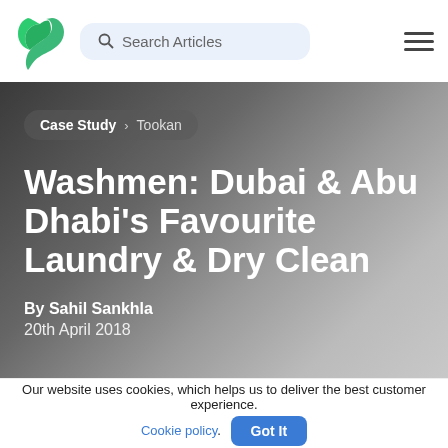[Figure (logo): Green letter J logo icon for a tech/SaaS company]
Search Articles
[Figure (other): Hamburger menu icon (three horizontal lines)]
Case Study > Tookan
Washmen: Dubai & Abu Dhabi's Favourite Laundry & Dry Clean
By Sahil Sankhla
20th April 2018
Our website uses cookies, which helps us to deliver the best customer experience. Cookie policy. Got It